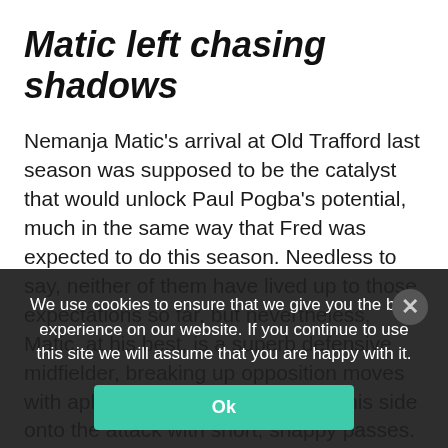Matic left chasing shadows
Nemanja Matic's arrival at Old Trafford last season was supposed to be the catalyst that would unlock Paul Pogba's potential, much in the same way that Fred was expected to do this season. Needless to say, neither of them have lived up to those expectations so far, but nevertheless, Matic, at his best, is a superb defensive midfielder, breaking up opposition moves with aplomb before quickly getting his side onto the attack with short, snappy passes.
On current form, however, the Serb is a liability asset. Entirely breaking up the same numbers so far this season in terms of tackle and interception stats as the worst of his career, he tends to slow down the game when on the ball, taking two or three touches before passing.
We use cookies to ensure that we give you the best experience on our website. If you continue to use this site we will assume that you are happy with it.